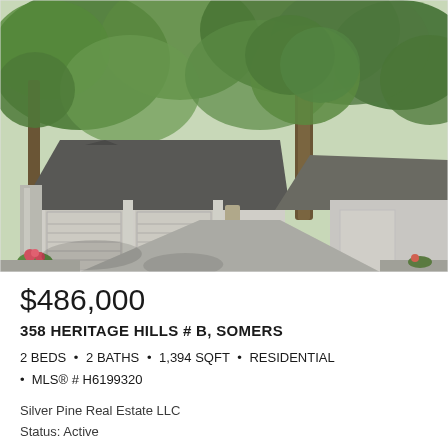[Figure (photo): Exterior photo of a residential home with multiple garage doors, gray roof, surrounded by green trees, with a driveway in the foreground]
$486,000
358 HERITAGE HILLS # B, SOMERS
2 BEDS • 2 BATHS • 1,394 SQFT • RESIDENTIAL • MLS® # H6199320
Silver Pine Real Estate LLC
Status: Active